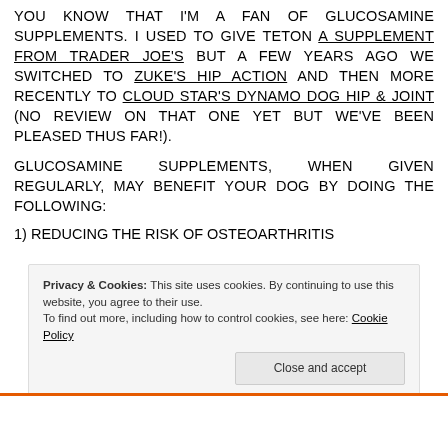YOU KNOW THAT I'M A FAN OF GLUCOSAMINE SUPPLEMENTS. I USED TO GIVE TETON A SUPPLEMENT FROM TRADER JOE'S BUT A FEW YEARS AGO WE SWITCHED TO ZUKE'S HIP ACTION AND THEN MORE RECENTLY TO CLOUD STAR'S DYNAMO DOG HIP & JOINT (NO REVIEW ON THAT ONE YET BUT WE'VE BEEN PLEASED THUS FAR!).
GLUCOSAMINE SUPPLEMENTS, WHEN GIVEN REGULARLY, MAY BENEFIT YOUR DOG BY DOING THE FOLLOWING:
1) REDUCING THE RISK OF OSTEOARTHRITIS
Privacy & Cookies: This site uses cookies. By continuing to use this website, you agree to their use. To find out more, including how to control cookies, see here: Cookie Policy